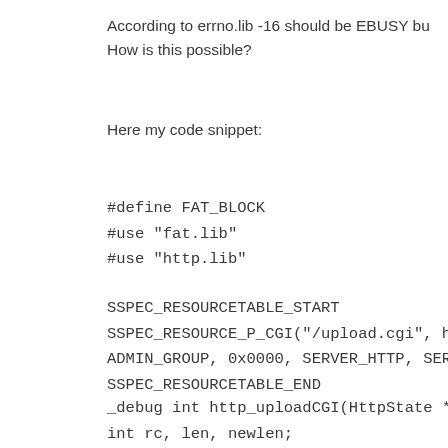According to errno.lib -16 should be EBUSY but... How is this possible?
Here my code snippet:
#define FAT_BLOCK
#use "fat.lib"
#use "http.lib"

SSPEC_RESOURCETABLE_START
SSPEC_RESOURCE_P_CGI("/upload.cgi", http_
ADMIN_GROUP, 0x0000, SERVER_HTTP, SERVE
SSPEC_RESOURCETABLE_END

_debug int http_uploadCGI(HttpState *state)
int rc, len, newlen;